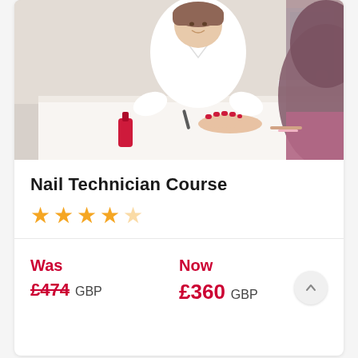[Figure (photo): Nail technician in white uniform applying red nail polish to a client's hand. Nail salon setting with pink bottles and tools on a white table. Another person with dark hair in pink clothing visible in foreground.]
Nail Technician Course
★★★★☆ (4 out of 5 stars)
Was £474 GBP  Now £360 GBP